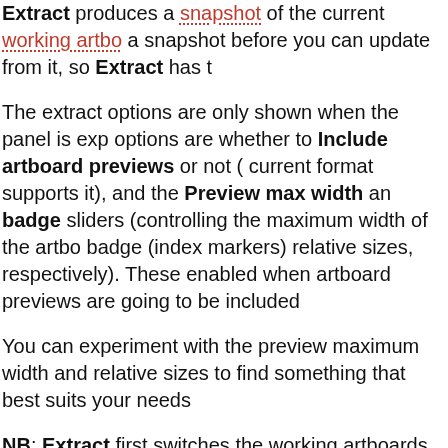Extract produces a snapshot of the current working artbo... a snapshot before you can update from it, so Extract has t...
The extract options are only shown when the panel is exp... options are whether to Include artboard previews or not (... current format supports it), and the Preview max width an... badge sliders (controlling the maximum width of the artbo... badge (index markers) relative sizes, respectively). These ... enabled when artboard previews are going to be included...
You can experiment with the preview maximum width and... relative sizes to find something that best suits your needs...
NB: Extract first switches the working artboards back to th... not already in place, in order to make the artboard previe... variant content. This can be a bit surprising at first.
While Extract is working, it produces a summary of what's...